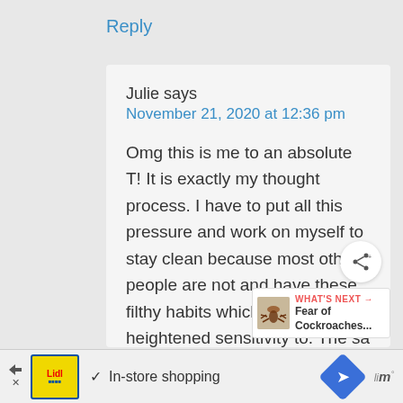Reply
Julie says
November 21, 2020 at 12:36 pm
Omg this is me to an absolute T! It is exactly my thought process. I have to put all this pressure and work on myself to stay clean because most other people are not and have these filthy habits which we have mor heightened sensitivity to. The sa thing is because most people are like
[Figure (screenshot): WHAT'S NEXT arrow label with Fear of Cockroaches... text and thumbnail]
[Figure (screenshot): Advertisement bar: Lidl logo, checkmark, In-store shopping text, navigation icon]